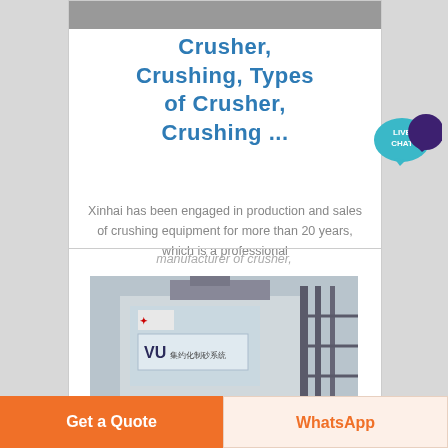Crusher, Crushing, Types of Crusher, Crushing ...
Xinhai has been engaged in production and sales of crushing equipment for more than 20 years, which is a professional manufacturer of crusher,
[Figure (photo): Industrial building with VU system branding and Mitsubishi logo, multi-story factory structure under overcast sky]
Get a Quote
WhatsApp